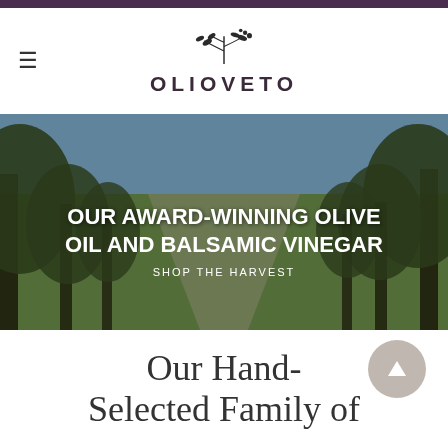OLIOVETO
[Figure (photo): Olive grove with trees lining a green grassy path under a blue sky. Overlay text reads: OUR AWARD-WINNING OLIVE OIL AND BALSAMIC VINEGAR / SHOP THE HARVEST]
OUR AWARD-WINNING OLIVE OIL AND BALSAMIC VINEGAR
SHOP THE HARVEST
Our Hand-Selected Family of